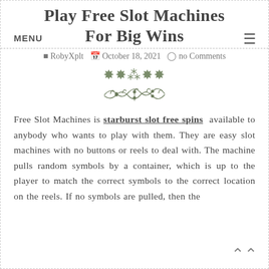MENU
Play Free Slot Machines For Big Wins
RobyXplt   October 18, 2021   no Comments
[Figure (illustration): Decorative floral/leaf ornament divider]
Free Slot Machines is starburst slot free spins available to anybody who wants to play with them. They are easy slot machines with no buttons or reels to deal with. The machine pulls random symbols by a container, which is up to the player to match the correct symbols to the correct location on the reels. If no symbols are pulled, then the